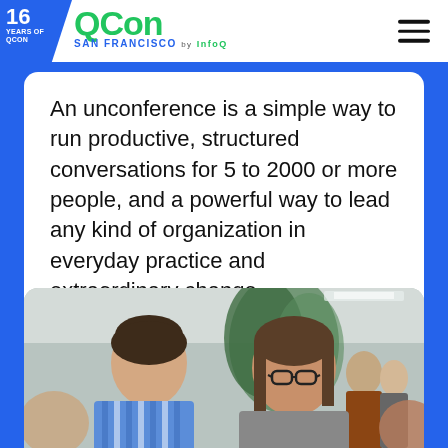16 YEARS OF QCON | QCon SAN FRANCISCO by InfoQ
An unconference is a simple way to run productive, structured conversations for 5 to 2000 or more people, and a powerful way to lead any kind of organization in everyday practice and extraordinary change.
[Figure (photo): A woman with glasses speaking animatedly to a man in a striped shirt at a conference networking event, with other attendees visible in the background and tropical plants.]